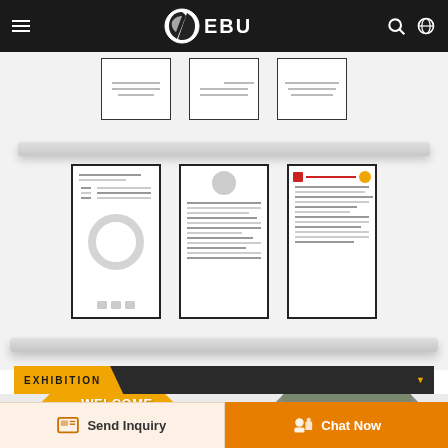[Figure (screenshot): EBU website header with hamburger menu, EBU logo, search icon, and globe icon on dark background]
[Figure (photo): Three framed document/certificate pages displayed on a white shelf (top shelf) with shelf board]
[Figure (photo): Three larger framed documents on a lower shelf: one with ring/bearing image, one text document, one with red header. Shelf board below.]
EXHIBITION
[Figure (photo): Welcome come to our factory section with orange diamond shape containing WELCOME text and another diamond with photo of two people at factory]